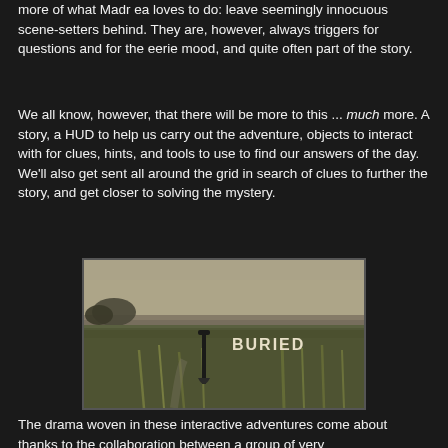more of what Madr ea loves to do: leave seemingly innocuous scene-setters behind. They are, however, always triggers for questions and for the eerie mood, and quite often part of the story.
We all know, however, that there will be more to this ... much more. A story, a HUD to help us carry out the adventure, objects to interact with for clues, hints, and tools to use to find our answers of the day. We'll also get sent all around the grid in search of clues to further the story, and get closer to solving the mystery.
[Figure (photo): A sepia-toned outdoor scene showing tall grass and a shovel stuck in the ground, with the word 'BURIED' displayed as text overlay on the right side of the image.]
The drama woven in these interactive adventures come about thanks to the collaboration between a group of very